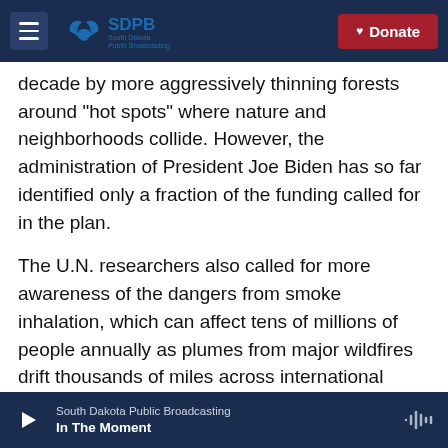SDPB South Dakota Public Broadcasting | Donate
decade by more aggressively thinning forests around "hot spots" where nature and neighborhoods collide. However, the administration of President Joe Biden has so far identified only a fraction of the funding called for in the plan.
The U.N. researchers also called for more awareness of the dangers from smoke inhalation, which can affect tens of millions of people annually as plumes from major wildfires drift thousands of miles across international borders.
Copyright 2022 NPR. To see more, visit https://www.npr.org
South Dakota Public Broadcasting | In The Moment